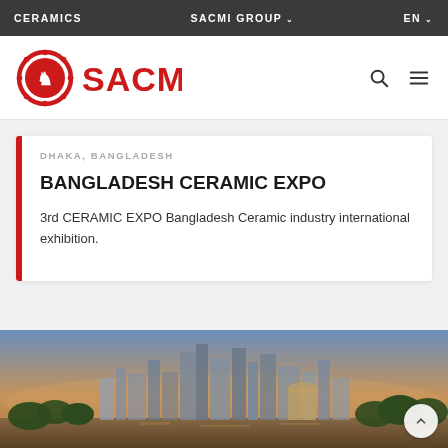CERAMICS   SACMI GROUP   EN
[Figure (logo): SACMI company logo — circular red gear emblem with red lion, next to bold red SACMI text]
DHAKA, BANGLADESH
BANGLADESH CERAMIC EXPO
3rd CERAMIC EXPO Bangladesh Ceramic industry international exhibition.
[Figure (photo): City skyline photograph showing urban buildings along a waterfront with warm golden-hour lighting — likely Dhaka or a similar Asian city.]